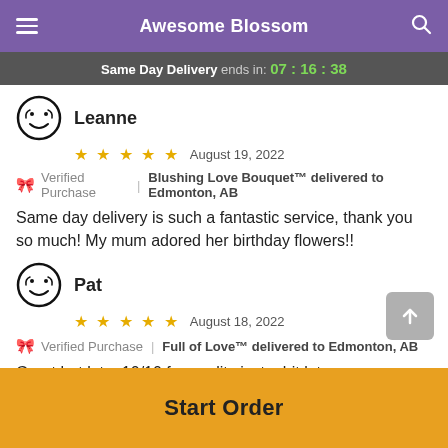Awesome Blossom
Same Day Delivery ends in: 07 : 16 : 38
Leanne
★★★★★  August 19, 2022
🎀 Verified Purchase | Blushing Love Bouquet™ delivered to Edmonton, AB
Same day delivery is such a fantastic service, thank you so much! My mum adored her birthday flowers!!
Pat
★★★★★  August 18, 2022
🎀 Verified Purchase | Full of Love™ delivered to Edmonton, AB
Great but late. 10/10 for quality just a bit late.
Start Order